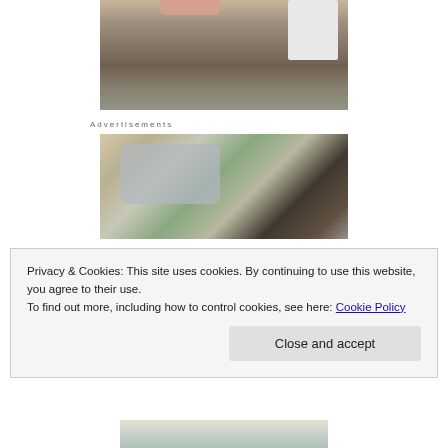[Figure (photo): Photo showing an indoor floor area with carpet/mat and a white appliance or furniture on the right side, partially cropped]
Advertisements
[Figure (photo): Photo of two young children (a boy and a girl) sitting outdoors with a car parked in background and trees visible]
Privacy & Cookies: This site uses cookies. By continuing to use this website, you agree to their use.
To find out more, including how to control cookies, see here: Cookie Policy
Close and accept
[Figure (photo): Partial photo visible at bottom of page, appears to show children or people with colorful objects]